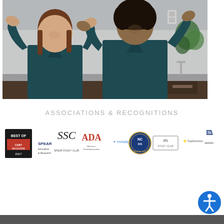[Figure (photo): Two female dental staff members in dark teal scrubs smiling and waving in a dental office setting with granite countertop and cabinetry in the background.]
ASSOCIATIONS & RECOGNITIONS
[Figure (illustration): Row of association and recognition logos including: Best Of (2017), Spear Study Club, SSC, ADA (American Dental Association), Invisalign, NCDS (North Carolina Dental Society), ITI Study Club, Top Dentists, and an award/recognition logo.]